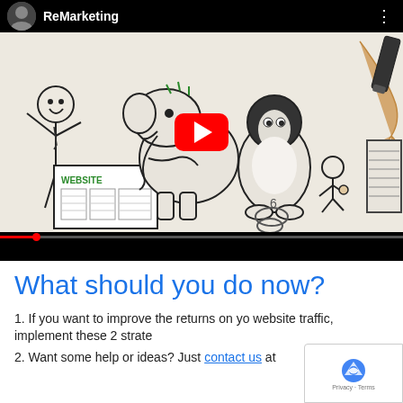[Figure (screenshot): YouTube embedded video thumbnail showing a whiteboard-style illustration with cartoon characters including an elephant, a person, a penguin-like figure, and a running person near a 'WEBSITE' sign. A hand holding a marker is visible on the right. Title bar reads 'ReMarketing'. Red YouTube play button overlay in center.]
What should you do now?
1. If you want to improve the returns on your website traffic, implement these 2 strategies
2. Want some help or ideas? Just contact us at